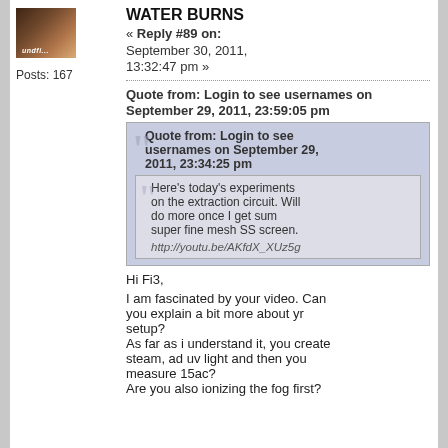[Figure (photo): Avatar photo of user, dark brown tones]
Posts: 167
WATER BURNS
« Reply #89 on:
September 30, 2011,
13:32:47 pm »
Quote from: Login to see usernames on September 29, 2011, 23:59:05 pm
Quote from: Login to see usernames on September 29, 2011, 23:34:25 pm

Here's today's experiments on the extraction circuit. Will do more once I get sum super fine mesh SS screen.

http://youtu.be/AKfdX_XUz5g
Hi Fi3,

I am fascinated by your video. Can you explain a bit more about yr setup?
As far as i understand it, you create steam, ad uv light and then you measure 15ac?
Are you also ionizing the fog first?